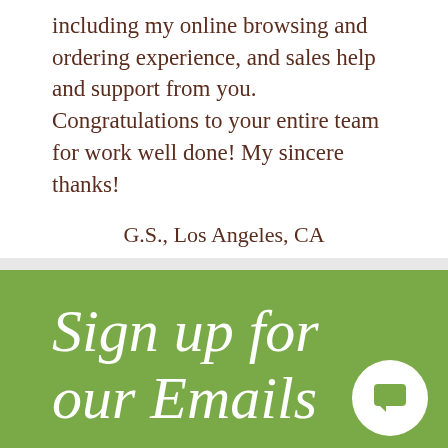including my online browsing and ordering experience, and sales help and support from you. Congratulations to your entire team for work well done! My sincere thanks!
G.S., Los Angeles, CA
Sign up for our Emails